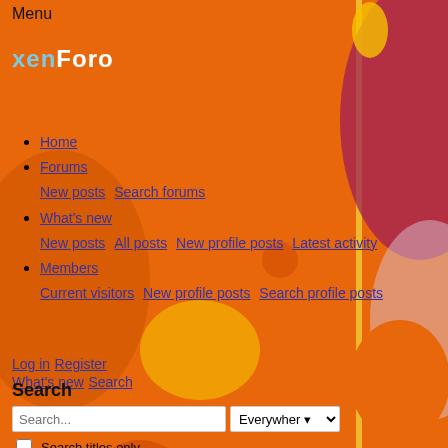Menu
[Figure (logo): XenForo logo with 'xen' in light blue and 'Foro' in white bold text]
Home
Forums
New posts  Search forums
What's new
New posts  All posts  New profile posts  Latest activity
Members
Current visitors  New profile posts  Search profile posts
Log in  Register
What's new  Search
Search
Search... [Everywhere dropdown] Search titles only  By: [Member]  [Search button]  Advanced search...